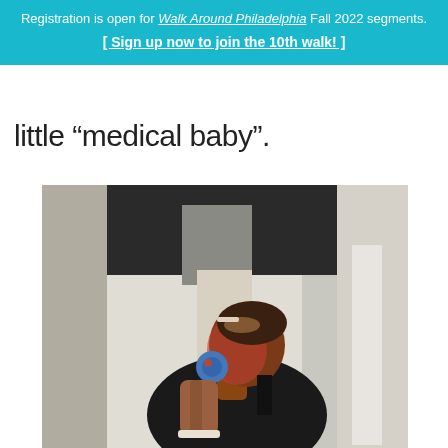Registration is open for Walk Around Philadelphia Fall 2022 segments. [ Sign up now to join the 10th walk! ]
little “medical baby”.
[Figure (photo): A person in profile view with hands pressed together in prayer position, wearing large circular blue earrings and a hair accessory, photographed indoors with dark curtain in background]